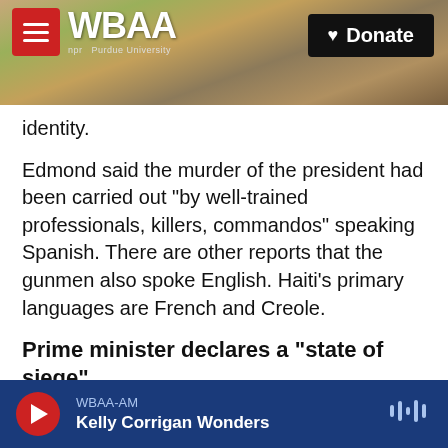[Figure (screenshot): WBAA NPR radio website header banner with tree/nature photo background, hamburger menu button in red, WBAA logo in white, and black Donate button with heart icon]
identity.
Edmond said the murder of the president had been carried out "by well-trained professionals, killers, commandos" speaking Spanish. There are other reports that the gunmen also spoke English. Haiti's primary languages are French and Creole.
Prime minister declares a "state of siege"
Joseph, the acting prime minister, decreed a two-week "state of siege" following Moïse's killing.
It's not clear exactly what that entails, though it
WBAA-AM  Kelly Corrigan Wonders